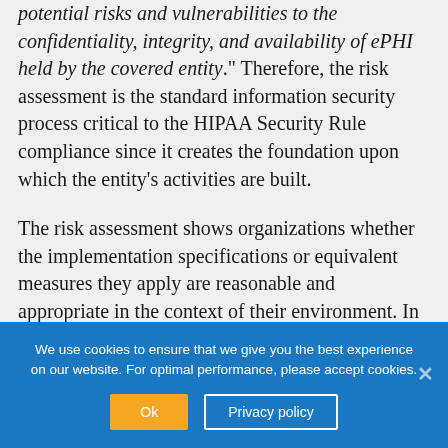potential risks and vulnerabilities to the confidentiality, integrity, and availability of ePHI held by the covered entity." Therefore, the risk assessment is the standard information security process critical to the HIPAA Security Rule compliance since it creates the foundation upon which the entity's activities are built.
The risk assessment shows organizations whether the implementation specifications or equivalent measures they apply are reasonable and appropriate in the context of their environment. In
We use cookies to ensure that we give you the best experience on our website. For optimal performance, please accept cookies.